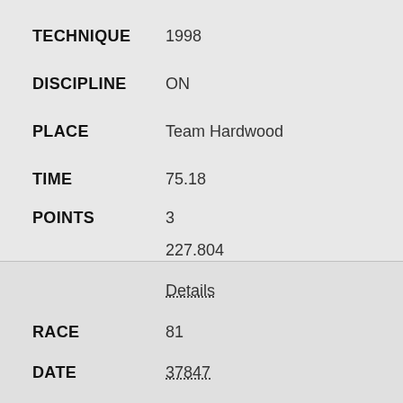TECHNIQUE: 1998
DISCIPLINE: ON
PLACE: Team Hardwood
TIME: 75.18
POINTS: 3
227.804
Details
RACE: 81
DATE: 37847
LOCATION: Jazmine